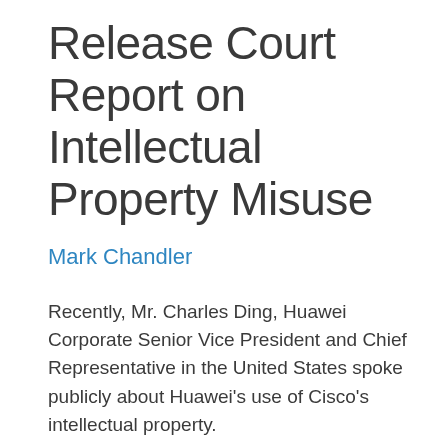Release Court Report on Intellectual Property Misuse
Mark Chandler
Recently,  Mr. Charles Ding, Huawei Corporate Senior Vice President and Chief Representative in the United States spoke publicly about Huawei's use of Cisco's intellectual property.
While Huawei's statements were in a context unrelated to the competitive relationship that Cisco and Huawei have, they nonetheless bear directly on issues that anyone concerned about fair competition in the networking industry ought